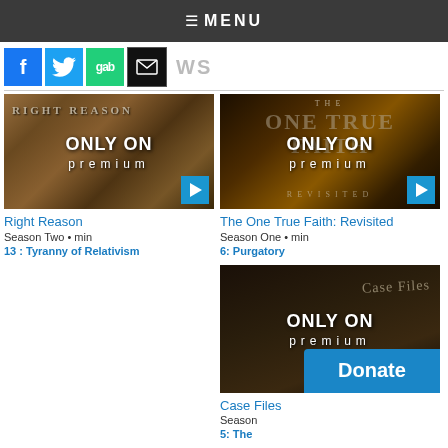≡ MENU
[Figure (screenshot): Social sharing buttons: Facebook, Twitter, Gab, Email, and partial NEWS text]
[Figure (screenshot): Right Reason show thumbnail with 'ONLY ON premium' overlay and play button]
Right Reason
Season Two • min
13 : Tyranny of Relativism
[Figure (screenshot): The One True Faith: Revisited show thumbnail with 'ONLY ON premium' overlay and play button]
The One True Faith: Revisited
Season One • min
6: Purgatory
[Figure (screenshot): Case Files show thumbnail with 'ONLY ON premium' overlay and play button, with Donate button overlay]
Case Files
Season
5: The